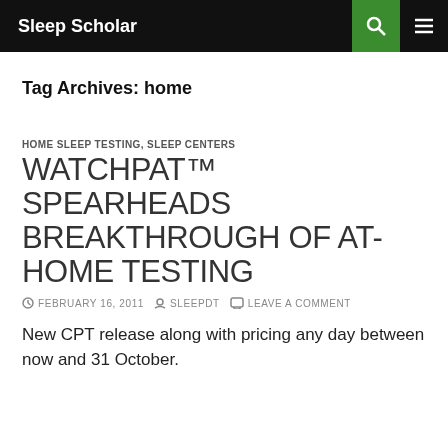Sleep Scholar
Tag Archives: home
HOME SLEEP TESTING, SLEEP CENTERS
WATCHPAT™ SPEARHEADS BREAKTHROUGH OF AT-HOME TESTING
FEBRUARY 16, 2011  SLEEPDT  LEAVE A COMMENT
New CPT release along with pricing any day between now and 31 October.